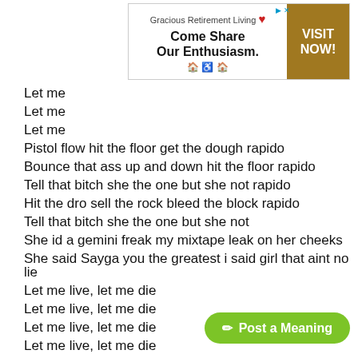[Figure (other): Advertisement banner for Gracious Retirement Living with tagline 'Come Share Our Enthusiasm.' and a Visit Now button]
Let me
Let me
Let me
Pistol flow hit the floor get the dough rapido
Bounce that ass up and down hit the floor rapido
Tell that bitch she the one but she not rapido
Hit the dro sell the rock bleed the block rapido
Tell that bitch she the one but she not
She id a gemini freak my mixtape leak on her cheeks
She said Sayga you the greatest i said girl that aint no lie
Let me live, let me die
Let me live, let me die
Let me live, let me die
Let me live, let me die
Suicide on my mind, B.I.G. on the
Told me rhyme my way to heaven